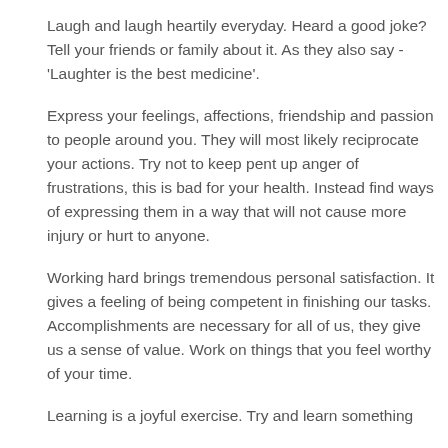Laugh and laugh heartily everyday. Heard a good joke? Tell your friends or family about it. As they also say -'Laughter is the best medicine'.
Express your feelings, affections, friendship and passion to people around you. They will most likely reciprocate your actions. Try not to keep pent up anger of frustrations, this is bad for your health. Instead find ways of expressing them in a way that will not cause more injury or hurt to anyone.
Working hard brings tremendous personal satisfaction. It gives a feeling of being competent in finishing our tasks. Accomplishments are necessary for all of us, they give us a sense of value. Work on things that you feel worthy of your time.
Learning is a joyful exercise. Try and learn something